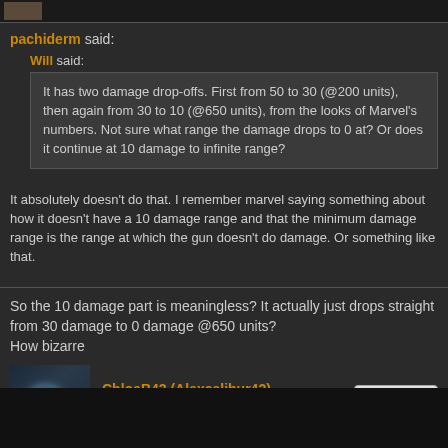[Figure (photo): Small avatar image in top bar]
pachiderm said:
Will said:
It has two damage drop-offs. First from 50 to 30 (@200 units), then again from 30 to 10 (@650 units), from the looks of Marvel's numbers. Not sure what range the damage drops to 0 at? Or does it continue at 10 damage to infinite range?
It absolutely doesn't do that. I remember marvel saying something about how it doesn't have a 10 damage range and that the minimum damage range is the range at which the gun doesn't do damage. Or something like that.
So the 10 damage part is meaningless? It actually just drops straight from 30 damage to 0 damage @650 units?
How bizarre
[Figure (photo): User avatar for ChloeB42 showing a character with blue glow]
ChloeB42 (Alexcalibur42)
True Bro
Dec 10, 2014 at 11:12am
Quote